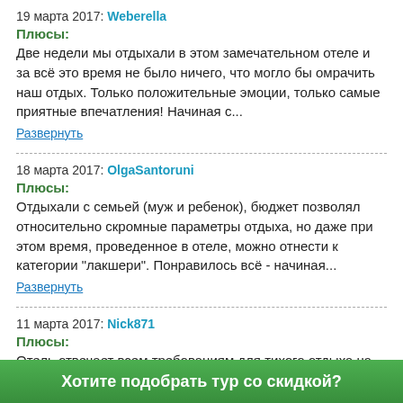19 марта 2017: Weberella
Плюсы:
Две недели мы отдыхали в этом замечательном отеле и за всё это время не было ничего, что могло бы омрачить наш отдых. Только положительные эмоции, только самые приятные впечатления! Начиная с...
Развернуть
18 марта 2017: OlgaSantoruni
Плюсы:
Отдыхали с семьей (муж и ребенок), бюджет позволял относительно скромные параметры отдыха, но даже при этом время, проведенное в отеле, можно отнести к категории "лакшери". Понравилось всё - начиная...
Развернуть
11 марта 2017: Nick871
Плюсы:
Отель отвечает всем требованиям для тихого отдыха на побережье. Прекрасный пляж, невероятно внимательный персонал, удобные бассейны в достаточном количестве. В просторных номерах есть
Хотите подобрать тур со скидкой?